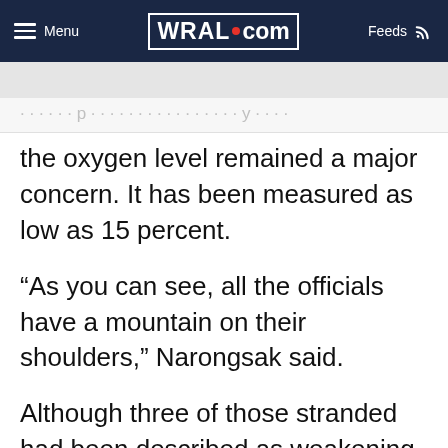Menu | WRAL.com | Feeds
the oxygen level remained a major concern. It has been measured as low as 15 percent.
“As you can see, all the officials have a mountain on their shoulders,” Narongsak said.
Although three of those stranded had been described as weakening, Narongsak said the